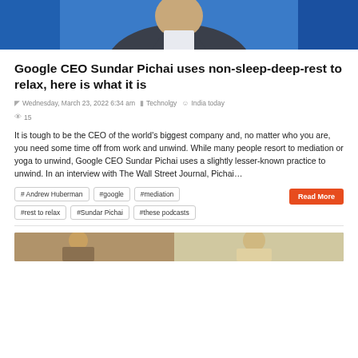[Figure (photo): Photo of a man in a grey suit with blue background, partially visible at top of page]
Google CEO Sundar Pichai uses non-sleep-deep-rest to relax, here is what it is
Wednesday, March 23, 2022 6:34 am   Technolgy   India today   15
It is tough to be the CEO of the world's biggest company and, no matter who you are, you need some time off from work and unwind. While many people resort to mediation or yoga to unwind, Google CEO Sundar Pichai uses a slightly lesser-known practice to unwind. In an interview with The Wall Street Journal, Pichai…
# Andrew Huberman  #google  #mediation  #rest to relax  #Sundar Pichai  #these podcasts
[Figure (photo): Partial photo visible at bottom of page]